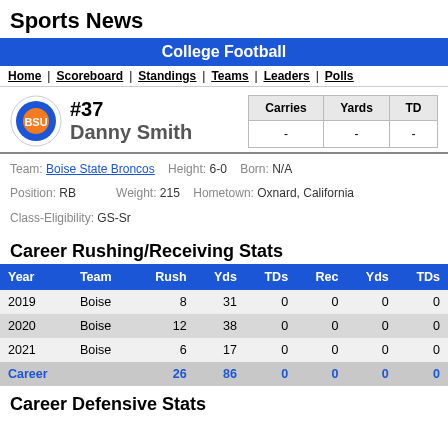Sports News
College Football
Home | Scoreboard | Standings | Teams | Leaders | Polls
#37 Danny Smith — Carries: - Yards: - TD: -
Team: Boise State Broncos  Height: 6-0  Born: N/A  Position: RB  Weight: 215  Hometown: Oxnard, California  Class-Eligibility: GS-Sr
Career Rushing/Receiving Stats
| Year | Team | Rush | Yds | TDs | Rec | Yds | TDs |
| --- | --- | --- | --- | --- | --- | --- | --- |
| 2019 | Boise | 8 | 31 | 0 | 0 | 0 | 0 |
| 2020 | Boise | 12 | 38 | 0 | 0 | 0 | 0 |
| 2021 | Boise | 6 | 17 | 0 | 0 | 0 | 0 |
| Career |  | 26 | 86 | 0 | 0 | 0 | 0 |
Career Defensive Stats